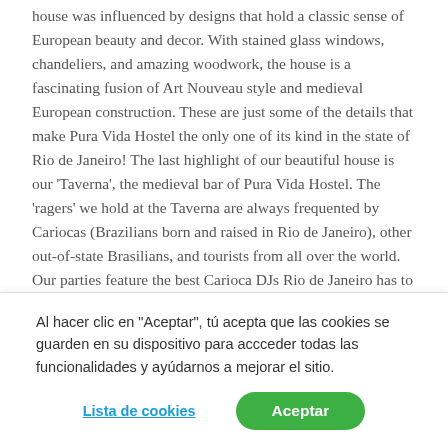house was influenced by designs that hold a classic sense of European beauty and decor. With stained glass windows, chandeliers, and amazing woodwork, the house is a fascinating fusion of Art Nouveau style and medieval European construction. These are just some of the details that make Pura Vida Hostel the only one of its kind in the state of Rio de Janeiro! The last highlight of our beautiful house is our 'Taverna', the medieval bar of Pura Vida Hostel. The 'ragers' we hold at the Taverna are always frequented by Cariocas (Brazilians born and raised in Rio de Janeiro), other out-of-state Brasilians, and tourists from all over the world. Our parties feature the best Carioca DJs Rio de Janeiro has to offer as well as live rock, jazz, samba, and cultural shows. The space of the Taverna has also been used in various films (including a film on famous Brazilian singer Tim Maia) music
Al hacer clic en "Aceptar", tú acepta que las cookies se guarden en su dispositivo para accceder todas las funcionalidades y ayúdarnos a mejorar el sitio.
Lista de cookies
Aceptar